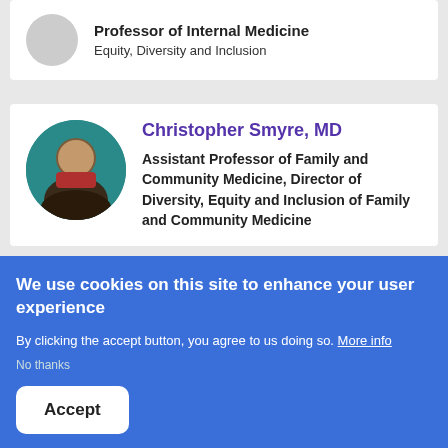Professor of Internal Medicine
Equity, Diversity and Inclusion
Christopher Smyre, MD
Assistant Professor of Family and Community Medicine, Director of Diversity, Equity and Inclusion of Family and Community Medicine
We use cookies on this site to enhance your user experience
By clicking the accept button, you agree to us doing so. More info
No thanks
Accept